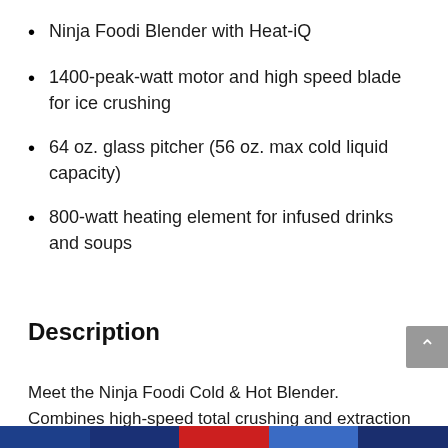Ninja Foodi Blender with Heat-iQ
1400-peak-watt motor and high speed blade for ice crushing
64 oz. glass pitcher (56 oz. max cold liquid capacity)
800-watt heating element for infused drinks and soups
Description
Meet the Ninja Foodi Cold & Hot Blender. Combines high-speed total crushing and extraction with a precision-heat cooking blender to go beyond smoothies and frozen drinks to